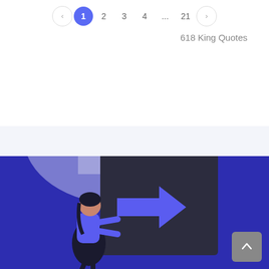[Figure (screenshot): Pagination bar showing pages 1, 2, 3, 4, ..., 21 with left and right arrows. Page 1 is active (highlighted blue circle).]
618 King Quotes
[Figure (illustration): Illustration of a woman in a blue top and black skirt pushing a large dark box with a blue right-pointing arrow on it. Behind her is a light purple/grey mountain and house background with blue decorative leaves. The lower half of the image has a dark blue background.]